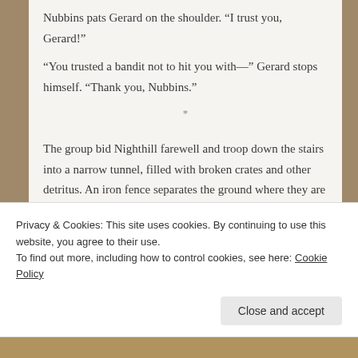Nubbins pats Gerard on the shoulder. “I trust you, Gerard!”
“You trusted a bandit not to hit you with—” Gerard stops himself. “Thank you, Nubbins.”
*
The group bid Nighthill farewell and troop down the stairs into a narrow tunnel, filled with broken crates and other detritus. An iron fence separates the ground where they are standing from a gutter filled with flowing sewage. Cyd holds her nose, and even Keothi glances around in distaste. The prisoners have been manacled to alcoves cut into the wall,
Privacy & Cookies: This site uses cookies. By continuing to use this website, you agree to their use.
To find out more, including how to control cookies, see here: Cookie Policy
Close and accept